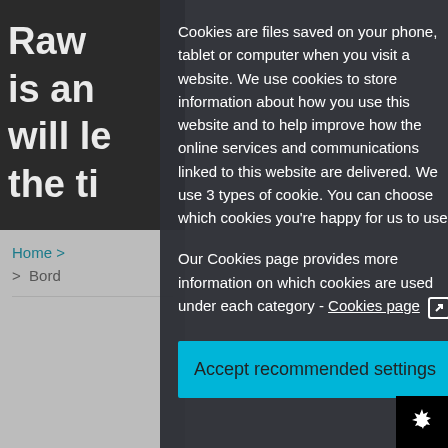[Figure (screenshot): Partial website background visible behind cookie consent overlay. Top-left shows dark photo with partial white bold text reading 'Raw / is an / will le / the ti'. Bottom-left shows gray navigation area with 'Home >' and '> Bord' partially visible.]
Cookies are files saved on your phone, tablet or computer when you visit a website. We use cookies to store information about how you use this website and to help improve how the online services and communications linked to this website are delivered. We use 3 types of cookie. You can choose which cookies you're happy for us to use.
Our Cookies page provides more information on which cookies are used under each category - Cookies page [external link icon]
Accept recommended settings